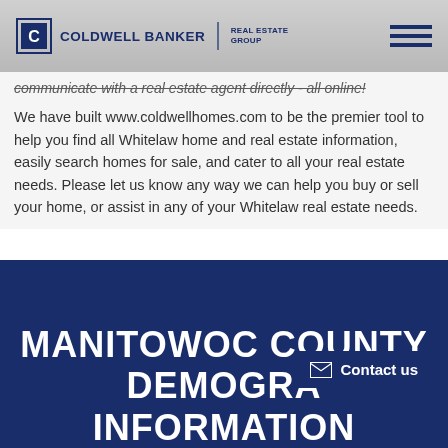[Figure (logo): Coldwell Banker Real Estate Group logo with hamburger menu icon]
communicate with a real estate agent directly - all online!
We have built www.coldwellhomes.com to be the premier tool to help you find all Whitelaw home and real estate information, easily search homes for sale, and cater to all your real estate needs. Please let us know any way we can help you buy or sell your home, or assist in any of your Whitelaw real estate needs.
MANITOWOC COUNTY DEMOGRAPHIC INFORMATION